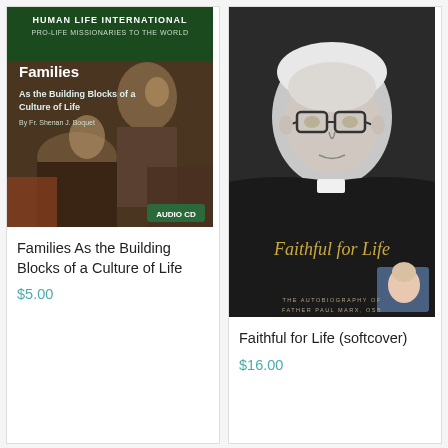[Figure (photo): Book cover: Human Life International Pro-Life Missionaries to the World - Families As the Building Blocks of a Culture of Life, by Fr. Shenan J. Boquet. Audio CD. Dark green background with classical painting of figures. Shows 'AUDIO CD' badge.]
Families As the Building Blocks of a Culture of Life
$5.00
[Figure (photo): Book cover: Faithful for Life - The Autobiography of Father Paul Marx, OSB. Black and white portrait of an elderly priest with glasses, with cursive gold title text and small color inset of a baby.]
Faithful for Life (softcover)
$16.00